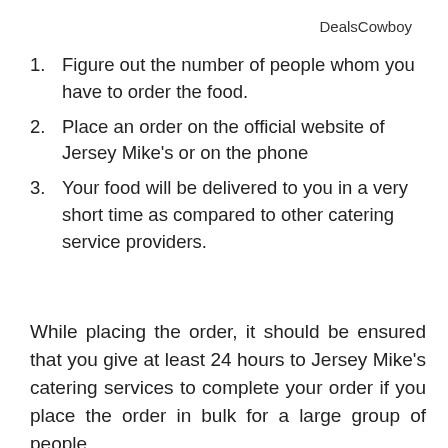DealsCowboy
Figure out the number of people whom you have to order the food.
Place an order on the official website of Jersey Mike's or on the phone
Your food will be delivered to you in a very short time as compared to other catering service providers.
While placing the order, it should be ensured that you give at least 24 hours to Jersey Mike's catering services to complete your order if you place the order in bulk for a large group of people.